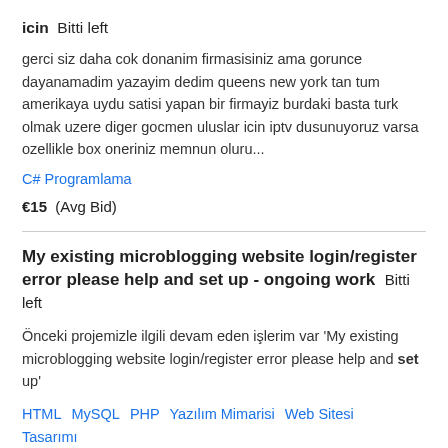icin  Bitti left
gerci siz daha cok donanim firmasisiniz ama gorunce dayanamadim yazayim dedim queens new york tan tum amerikaya uydu satisi yapan bir firmayiz burdaki basta turk olmak uzere diger gocmen uluslar icin iptv dusunuyoruz varsa ozellikle box oneriniz memnun oluru...
C# Programlama
€15  (Avg Bid)
My existing microblogging website login/register error please help and set up - ongoing work  Bitti left
Önceki projemizle ilgili devam eden işlerim var 'My existing microblogging website login/register error please help and set up'
HTML  MySQL  PHP  Yazılım Mimarisi  Web Sitesi Tasarımı